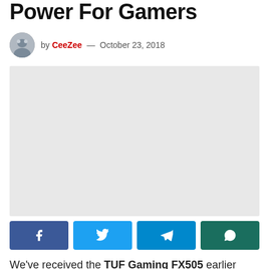Power For Gamers
by CeeZee — October 23, 2018
[Figure (photo): Light grey placeholder image for article header photo]
[Figure (infographic): Social share buttons: Facebook, Twitter, Telegram, WhatsApp]
We've received the TUF Gaming FX505 earlier thanks to ASUS and we've taken a peek at its performance by playing all kinds of games that we can think of. Equipped